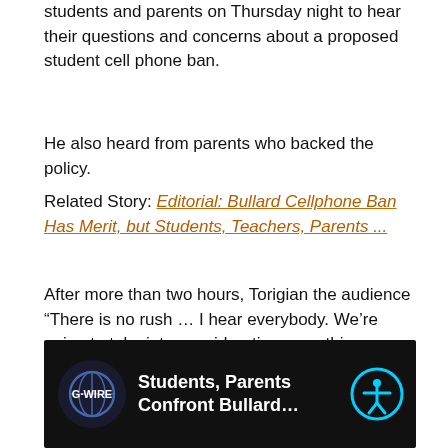students and parents on Thursday night to hear their questions and concerns about a proposed student cell phone ban.
He also heard from parents who backed the policy.
Related Story: Editorial: Bullard Cellphone Ban Has Merit, but Students, Teachers, Parents ...
After more than two hours, Torigian the audience “There is no rush … I hear everybody. We’re going to take into consideration everything everyone’s saying. … My number one thing is we have to get the answer (to) all questions and all concerned before we continue to move forward.”
[Figure (screenshot): GV Wire video thumbnail showing 'Students, Parents Confront Bullard...' with GV Wire logo and accessibility icon on dark background]